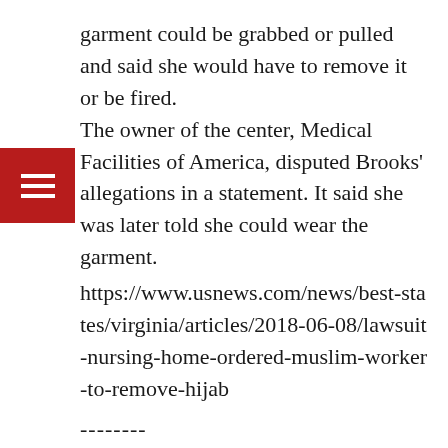garment could be grabbed or pulled and said she would have to remove it or be fired. The owner of the center, Medical Facilities of America, disputed Brooks' allegations in a statement. It said she was later told she could wear the garment.
https://www.usnews.com/news/best-states/virginia/articles/2018-06-08/lawsuit-nursing-home-ordered-muslim-worker-to-remove-hijab
--------
14 New Jersey women alleging anti-Muslim bias at Newark Airport security
June 8, 2018